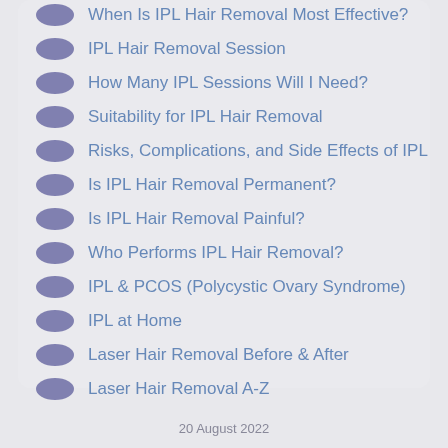When Is IPL Hair Removal Most Effective?
IPL Hair Removal Session
How Many IPL Sessions Will I Need?
Suitability for IPL Hair Removal
Risks, Complications, and Side Effects of IPL
Is IPL Hair Removal Permanent?
Is IPL Hair Removal Painful?
Who Performs IPL Hair Removal?
IPL & PCOS (Polycystic Ovary Syndrome)
IPL at Home
Laser Hair Removal Before & After
Laser Hair Removal A-Z
20 August 2022